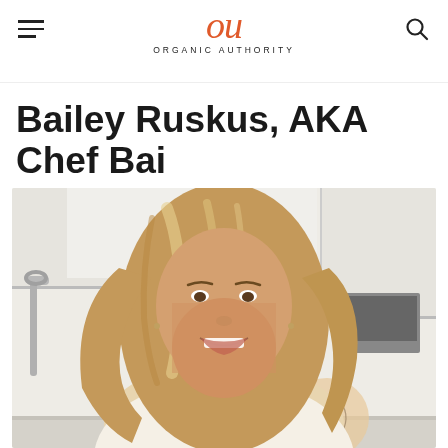ORGANIC AUTHORITY
Bailey Ruskus, AKA Chef Bai
[Figure (photo): Portrait photo of Bailey Ruskus (Chef Bai), a smiling blonde woman with long wavy hair, tattooed shoulder, wearing a light-colored top, photographed in a bright white kitchen with white cabinets, silver faucet, and appliances in the background.]